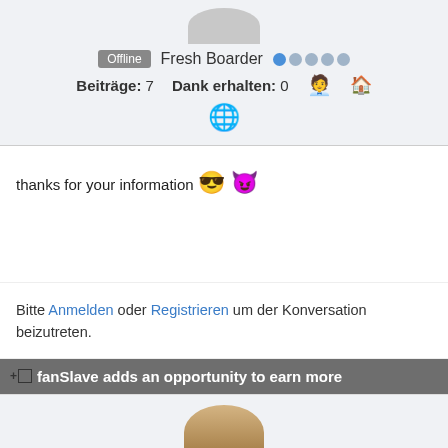Offline  Fresh Boarder  [dots]
Beiträge: 7   Dank erhalten: 0  [person icon] [home icon]
[globe icon]
thanks for your information 😎 😈
Bitte Anmelden oder Registrieren um der Konversation beizutreten.
fanSlave adds an opportunity to earn more
[Figure (photo): Bottom partial view of another user avatar, appears to be a cat or animal photo]